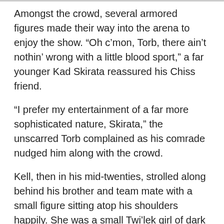Amongst the crowd, several armored figures made their way into the arena to enjoy the show. “Oh c’mon, Torb, there ain’t nothin’ wrong with a little blood sport,” a far younger Kad Skirata reassured his Chiss friend.
“I prefer my entertainment of a far more sophisticated nature, Skirata,” the unscarred Torb complained as his comrade nudged him along with the crowd.
Kell, then in his mid-twenties, strolled along behind his brother and team mate with a small figure sitting atop his shoulders happily. She was a small Twi’lek girl of dark blue hue and bright violet eyes clad in simple yellow dress. Kell happily sang along with the tune the little girl belted out.